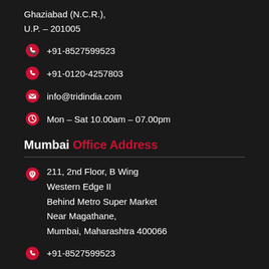Ghaziabad (N.C.R.),
U.P. – 201005
+91-8527599523
+91-0120-4257803
info@tridindia.com
Mon – Sat 10.00am – 07.00pm
Mumbai Office Address
211, 2nd Floor, B Wing
Western Edge II
Behind Metro Super Market
Near Magathane,
Mumbai, Maharashtra 400066
+91-8527599523